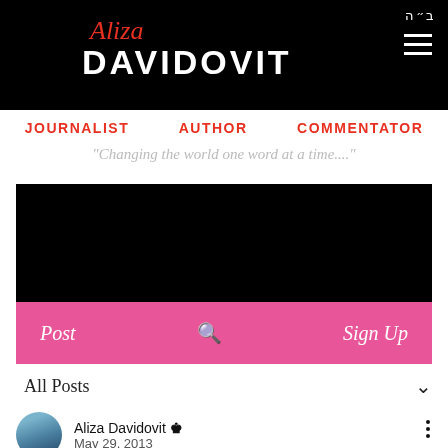Aliza Davidovit — JOURNALIST  AUTHOR  COMMENTATOR
"Changing the world one word at a time...."
[Figure (photo): Black banner image area for blog header]
Post  🔍  Sign Up
All Posts
Aliza Davidovit 👑  May 29, 2013
THANK YOU ISRAEL